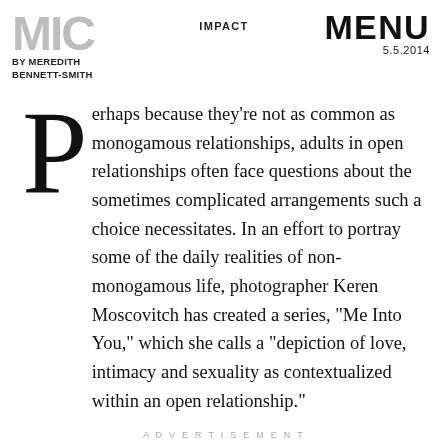MIC BY MEREDITH BENNETT-SMITH   IMPACT   MENU 5.5.2014
Perhaps because they're not as common as monogamous relationships, adults in open relationships often face questions about the sometimes complicated arrangements such a choice necessitates. In an effort to portray some of the daily realities of non-monogamous life, photographer Keren Moscovitch has created a series, "Me Into You," which she calls a "depiction of love, intimacy and sexuality as contextualized within an open relationship."
ADVERTISEMENT